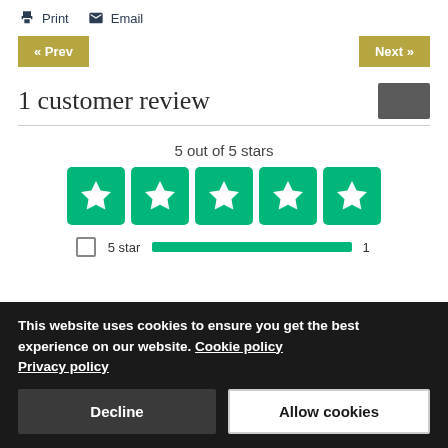🖨 Print   ✉ Email
« Prev   Next »
1 customer review
5 out of 5 stars
[Figure (other): Five green Trustpilot star rating boxes, each with a white star icon]
☐ 5 star ━━━━━━━━━━━━━━━━━ 1
This website uses cookies to ensure you get the best experience on our website. Cookie policy
Privacy policy
Decline   Allow cookies